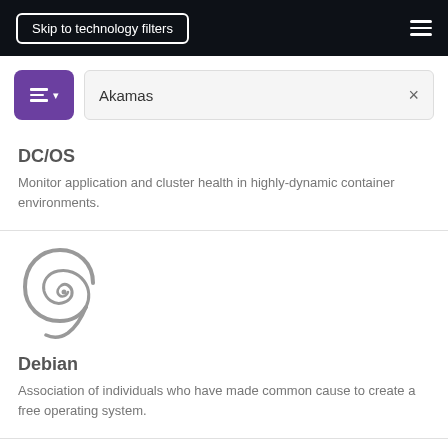Skip to technology filters
Akamas
DC/OS
Monitor application and cluster health in highly-dynamic container environments.
[Figure (logo): Debian swirl logo in gray]
Debian
Association of individuals who have made common cause to create a free operating system.